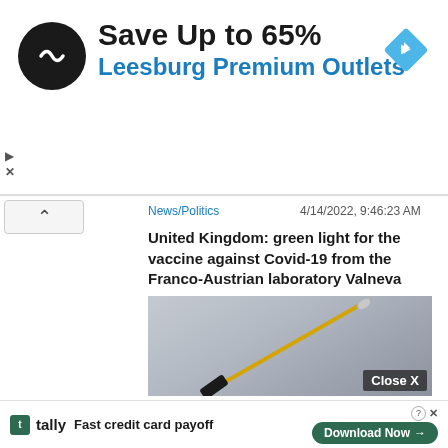[Figure (screenshot): Advertisement banner: black circular logo with arrow icon, 'Save Up to 65%' in bold black, 'Leesburg Premium Outlets' in blue, blue diamond navigation icon on right]
[Figure (photo): Close-up photograph of a vaccine syringe/needle against a blurred grey background, with a 'Close X' button overlay]
News/Politics
4/14/2022, 9:46:23 AM
United Kingdom: green light for the vaccine against Covid-19 from the Franco-Austrian laboratory Valneva
[Figure (logo): Tally app advertisement - green square logo, 'tally' text, 'Fast credit card payoff', Download Now button]